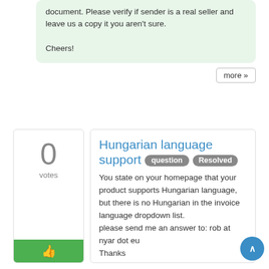document. Please verify if sender is a real seller and leave us a copy it you aren't sure.

Cheers!
more »
0
votes
Hungarian language support
question   Resolved
You state on your homepage that your product supports Hungarian language, but there is no Hungarian in the invoice language dropdown list.
please send me an answer to: rob at nyar dot eu
Thanks
Anonymous 2014-12-29 04:10 1 comment